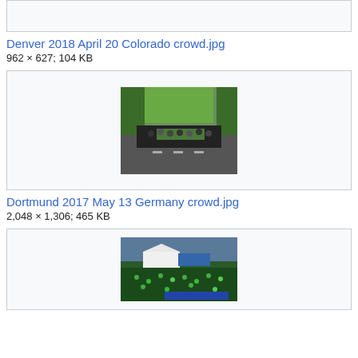[Figure (photo): Partial top image box (cropped from top)]
Denver 2018 April 20 Colorado crowd.jpg
962 × 627; 104 KB
[Figure (photo): Photo of a street parade in Dortmund, Germany — marching band/procession on a road lined with green trees]
Dortmund 2017 May 13 Germany crowd.jpg
2,048 × 1,306; 465 KB
[Figure (photo): Photo of a large outdoor crowd gathering with green canopy/tent visible, people densely packed]